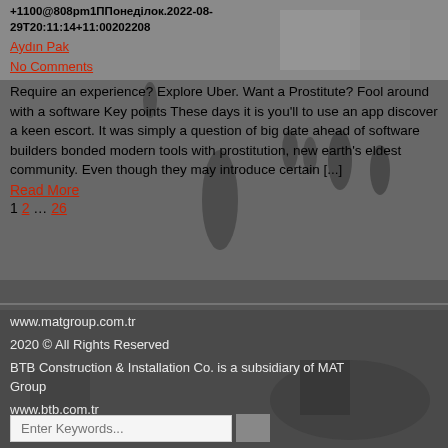[Figure (photo): Black and white historical photograph showing a village scene with people and soldiers, buildings in background]
+1100@808pm1ППонедiлок.2022-08-29T20:11:14+11:00202208
Aydın Pak
No Comments
Require an experience? Explore Uber. Want a Prostitute? Fool around with a software Key points These days it is you'll to use an app discover a keen escort. It was simply a question of big date ahead of software builders bonded modern tools with prostitution, new earth's eldest community. Even though they may introduce certain [...]
Read More
1 2 … 26
www.matgroup.com.tr
2020 © All Rights Reserved
BTB Construction & Installation Co. is a subsidiary of MAT Group
www.btb.com.tr
2022